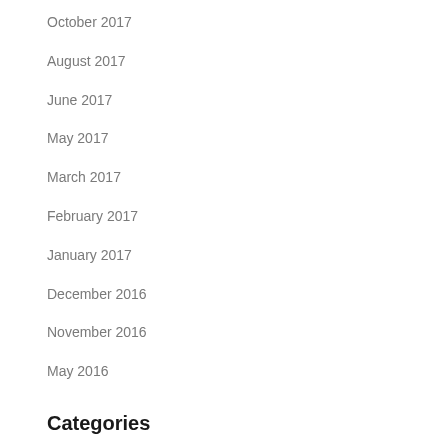October 2017
August 2017
June 2017
May 2017
March 2017
February 2017
January 2017
December 2016
November 2016
May 2016
Categories
Audio Visual Equipment
AVC Projects
Blog